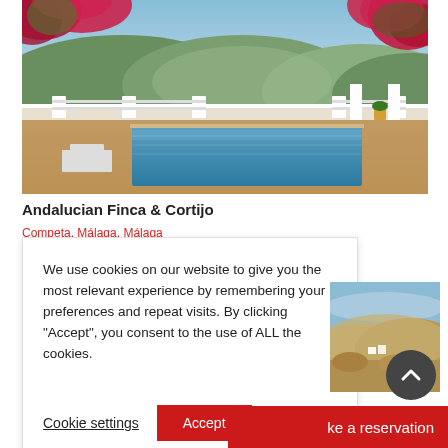[Figure (photo): Outdoor swimming pool with terracotta patio, white balustrade walls, mountain backdrop, blue sky, and pink bougainvillea flowers framing the top]
Andalucian Finca & Cortijo
We use cookies on our website to give you the most relevant experience by remembering your preferences and repeat visits. By clicking "Accept", you consent to the use of ALL the cookies.
Cookie settings   Accept
[Figure (photo): Small thumbnail of hilly landscape with mountains under a blue sky]
ke a reservation